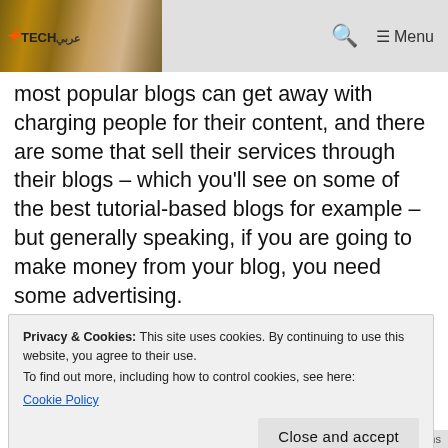TECH | Menu
most popular blogs can get away with charging people for their content, and there are some that sell their services through their blogs – which you'll see on some of the best tutorial-based blogs for example – but generally speaking, if you are going to make money from your blog, you need some advertising.
Privacy & Cookies: This site uses cookies. By continuing to use this website, you agree to their use. To find out more, including how to control cookies, see here: Cookie Policy Close and accept
through advertising.
Privacy · Terms